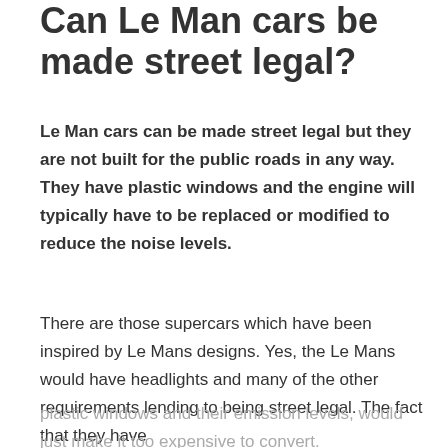Can Le Man cars be made street legal?
Le Man cars can be made street legal but they are not built for the public roads in any way. They have plastic windows and the engine will typically have to be replaced or modified to reduce the noise levels.
There are those supercars which have been inspired by Le Mans designs. Yes, the Le Mans would have headlights and many of the other requirements lending to being street legal. The fact that they have plastic windows and their emission levels, would just make it too expensive to convert.